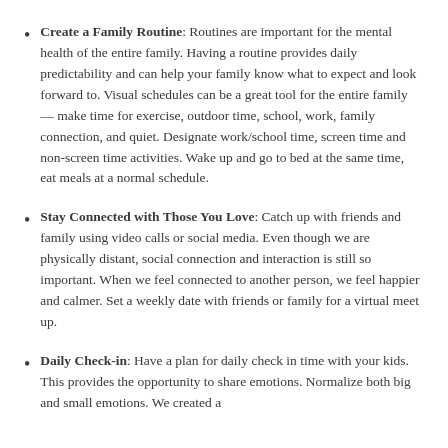Create a Family Routine: Routines are important for the mental health of the entire family. Having a routine provides daily predictability and can help your family know what to expect and look forward to. Visual schedules can be a great tool for the entire family — make time for exercise, outdoor time, school, work, family connection, and quiet. Designate work/school time, screen time and non-screen time activities. Wake up and go to bed at the same time, eat meals at a normal schedule.
Stay Connected with Those You Love: Catch up with friends and family using video calls or social media. Even though we are physically distant, social connection and interaction is still so important. When we feel connected to another person, we feel happier and calmer. Set a weekly date with friends or family for a virtual meet up.
Daily Check-in: Have a plan for daily check in time with your kids. This provides the opportunity to share emotions. Normalize both big and small emotions. We created a